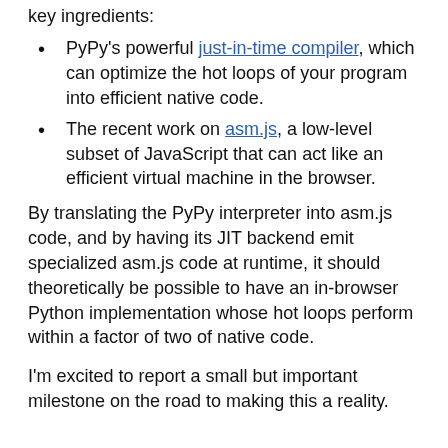key ingredients:
PyPy's powerful just-in-time compiler, which can optimize the hot loops of your program into efficient native code.
The recent work on asm.js, a low-level subset of JavaScript that can act like an efficient virtual machine in the browser.
By translating the PyPy interpreter into asm.js code, and by having its JIT backend emit specialized asm.js code at runtime, it should theoretically be possible to have an in-browser Python implementation whose hot loops perform within a factor of two of native code.
I'm excited to report a small but important milestone on the road to making this a reality.